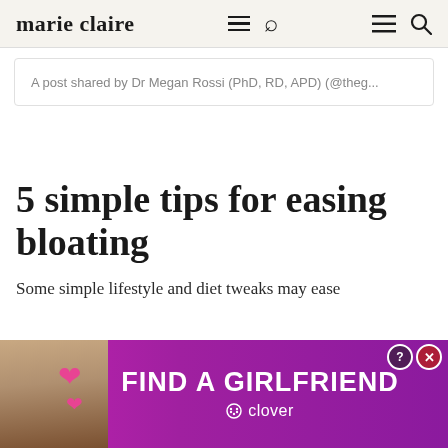marie claire
A post shared by Dr Megan Rossi (PhD, RD, APD) (@theg...
5 simple tips for easing bloating
Some simple lifestyle and diet tweaks may ease
[Figure (infographic): Advertisement banner: 'FIND A GIRLFRIEND' by Clover app, with purple/magenta background and a photo of a woman with heart graphics on the left side. Close and help buttons in top-right corner.]